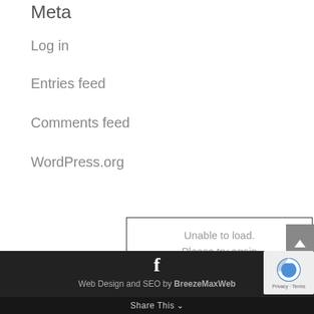Meta
Log in
Entries feed
Comments feed
WordPress.org
[Figure (screenshot): Unable to load error box with RELOAD button]
Web Design and SEO by BreezeMaxWeb
Share This